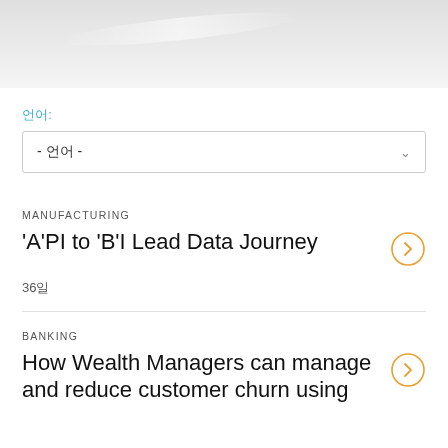[Figure (illustration): Light grey header banner area with subtle white highlight/glare effect]
언어:
- 언어 -
MANUFACTURING
'A'PI to 'B'I Lead Data Journey
36일
BANKING
How Wealth Managers can manage and reduce customer churn using